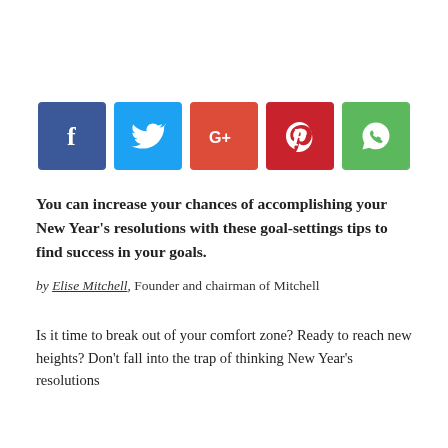[Figure (infographic): Row of five social media share buttons: Facebook (dark blue, f), Twitter (light blue, bird), Google+ (red-orange, G+), Pinterest (dark red, P), WhatsApp (green, phone/chat icon)]
You can increase your chances of accomplishing your New Year's resolutions with these goal-settings tips to find success in your goals.
by Elise Mitchell, Founder and chairman of Mitchell
Is it time to break out of your comfort zone? Ready to reach new heights? Don't fall into the trap of thinking New Year's resolutions